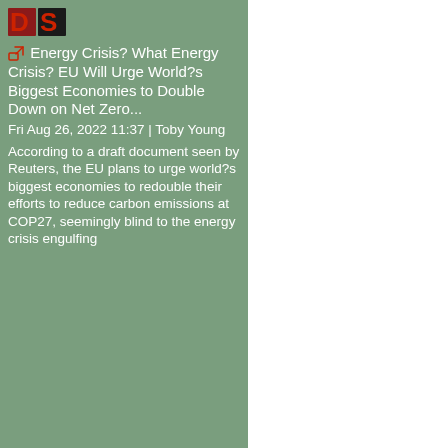[Figure (logo): DS logo with red and dark letters, partially visible]
Energy Crisis? What Energy Crisis? EU Will Urge World?s Biggest Economies to Double Down on Net Zero...
Fri Aug 26, 2022 11:37 | Toby Young
According to a draft document seen by Reuters, the EU plans to urge world?s biggest economies to redouble their efforts to reduce carbon emissions at COP27, seemingly blind to the energy crisis engulfing the continent.